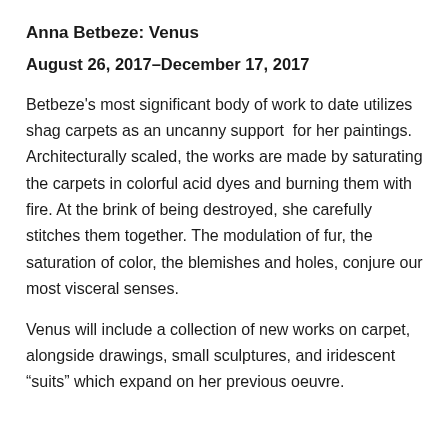Anna Betbeze: Venus
August 26, 2017–December 17, 2017
Betbeze's most significant body of work to date utilizes shag carpets as an uncanny support  for her paintings. Architecturally scaled, the works are made by saturating the carpets in colorful acid dyes and burning them with fire. At the brink of being destroyed, she carefully stitches them together. The modulation of fur, the saturation of color, the blemishes and holes, conjure our most visceral senses.
Venus will include a collection of new works on carpet, alongside drawings, small sculptures, and iridescent “suits” which expand on her previous oeuvre.